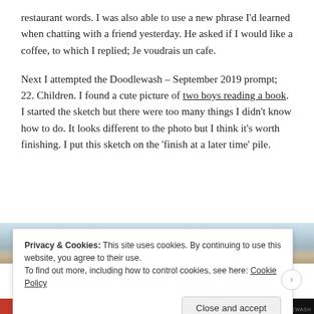restaurant words. I was also able to use a new phrase I'd learned when chatting with a friend yesterday. He asked if I would like a coffee, to which I replied; Je voudrais un cafe.
Next I attempted the Doodlewash – September 2019 prompt; 22. Children. I found a cute picture of two boys reading a book. I started the sketch but there were too many things I didn't know how to do. It looks different to the photo but I think it's worth finishing. I put this sketch on the 'finish at a later time' pile.
[Figure (photo): Partial view of a photo strip showing what appears to be children or people reading, partially obscured by the cookie banner]
Privacy & Cookies: This site uses cookies. By continuing to use this website, you agree to their use.
To find out more, including how to control cookies, see here: Cookie Policy
Close and accept